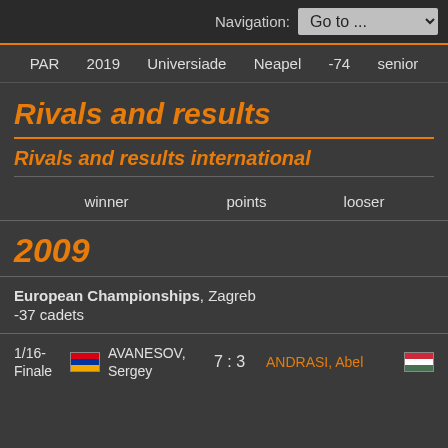Navigation: Go to ...
PAR  2019  Universiade  Neapel  -74  senior
Rivals and results
Rivals and results international
| winner | points | looser |
| --- | --- | --- |
| 2009 |  |  |
| European Championships, Zagreb
-37 cadets |  |  |
| 1/16-Finale  AVANESOV, Sergey | 7 : 3 | ANDRASI, Abel |